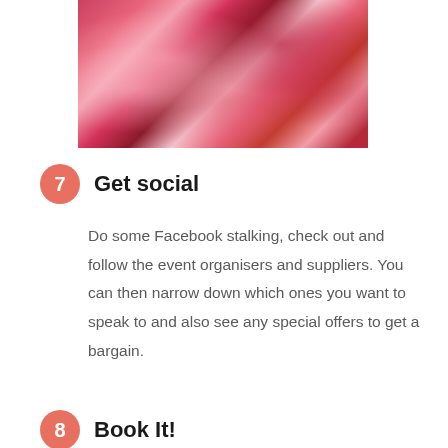[Figure (photo): A close-up photograph of a wedding bouquet with red, pink, and burgundy flowers including roses, dahlias, and berries, held by a person in a white dress.]
7 Get social
Do some Facebook stalking, check out and follow the event organisers and suppliers. You can then narrow down which ones you want to speak to and also see any special offers to get a bargain.
8 Book It!